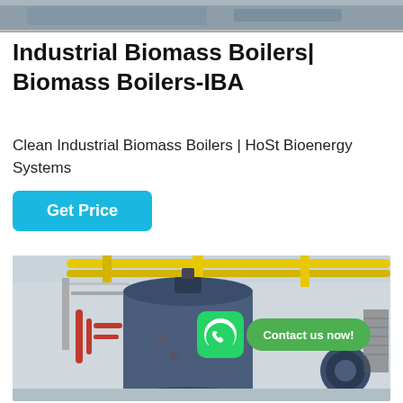[Figure (photo): Top portion of a photograph showing an industrial facility interior, partially cropped]
Industrial Biomass Boilers| Biomass Boilers-IBA
Clean Industrial Biomass Boilers | HoSt Bioenergy Systems
Get Price
[Figure (photo): Industrial boiler facility interior showing large blue cylindrical boilers with yellow pipes overhead, red and white piping on sides. WhatsApp icon and 'Contact us now!' green button overlaid on the image.]